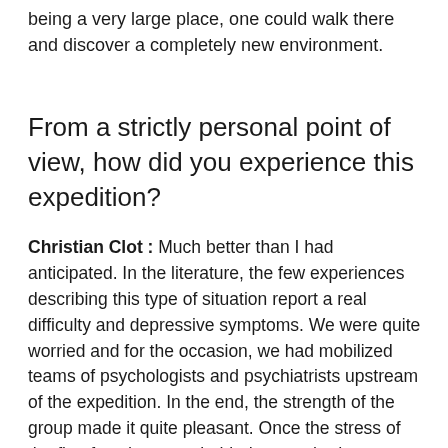being a very large place, one could walk there and discover a completely new environment.
From a strictly personal point of view, how did you experience this expedition?
Christian Clot : Much better than I had anticipated. In the literature, the few experiences describing this type of situation report a real difficulty and depressive symptoms. We were quite worried and for the occasion, we had mobilized teams of psychologists and psychiatrists upstream of the expedition. In the end, the strength of the group made it quite pleasant. Once the stress of the first few days was behind us, we had a strong sense of freedom, a functional and collective synchronicity. The cameras filmed everything and the ethologists on our teams will have their work cut out for them (laughs)!